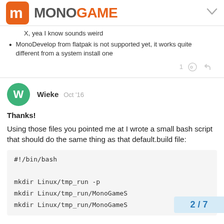MonoGame
X, yea I know sounds weird
MonoDevelop from flatpak is not supported yet, it works quite different from a system install one
Wieke  Oct '16
Thanks!
Using those files you pointed me at I wrote a small bash script that should do the same thing as that default.build file:
2 / 7